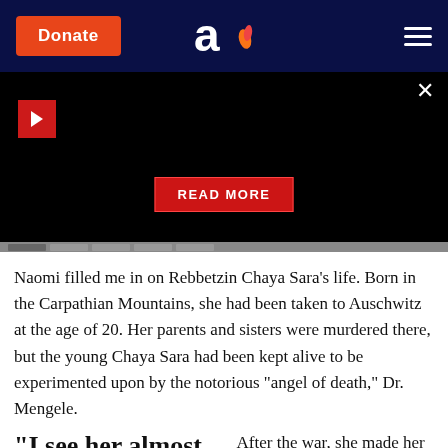[Figure (screenshot): Aish.com website navigation bar with orange Donate button, Aish logo (letter 'a' with flame), and hamburger menu]
[Figure (screenshot): Black video player area with red play button, READ MORE red button, and close X button]
Naomi filled me in on Rebbetzin Chaya Sara's life. Born in the Carpathian Mountains, she had been taken to Auschwitz at the age of 20. Her parents and sisters were murdered there, but the young Chaya Sara had been kept alive to be experimented upon by the notorious "angel of death," Dr. Mengele.
"I see her almost
After the war, she made her way to Palestine, where